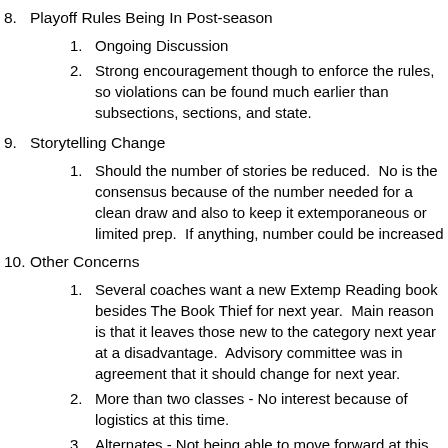8. Playoff Rules Being In Post-season
1. Ongoing Discussion
2. Strong encouragement though to enforce the rules, so violations can be found much earlier than subsections, sections, and state.
9. Storytelling Change
1. Should the number of stories be reduced.  No is the consensus because of the number needed for a clean draw and also to keep it extemporaneous or limited prep.  If anything, number could be increased
10. Other Concerns
1. Several coaches want a new Extemp Reading book besides The Book Thief for next year.  Main reason is that it leaves those new to the category next year at a disadvantage.  Advisory committee was in agreement that it should change for next year.
2. More than two classes - No interest because of logistics at this time.
3. Alternates - Not being able to move forward at this time